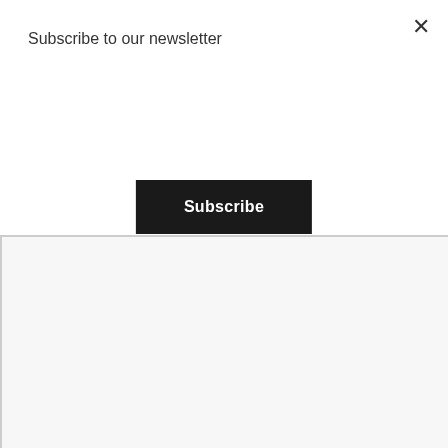Subscribe to our newsletter
Subscribe
×
Decor-
This is of course a huge personal preference.  But, I will say a sewing/craft room if it is JUST yours go all out!  Don't worry about doing what's on trend, what your partner likes, what is kid friendly…. if it is just for you and your hobbies then making it your little slice of decorating heaven! I plan on going